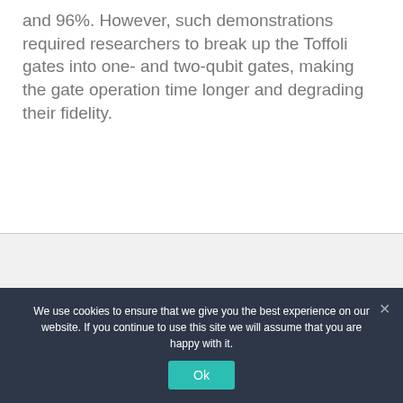and 96%. However, such demonstrations required researchers to break up the Toffoli gates into one- and two-qubit gates, making the gate operation time longer and degrading their fidelity.
We use cookies to ensure that we give you the best experience on our website. If you continue to use this site we will assume that you are happy with it.